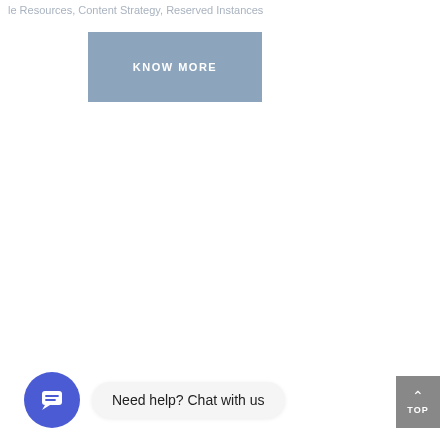le Resources, Content Strategy, Reserved Instances
[Figure (other): A rectangular button with steel-blue background and white bold text reading KNOW MORE]
[Figure (other): Chat widget with blue circle icon containing a chat bubble symbol and a pill-shaped text box reading 'Need help? Chat with us']
[Figure (other): Gray square TOP button with upward chevron arrow and label TOP]